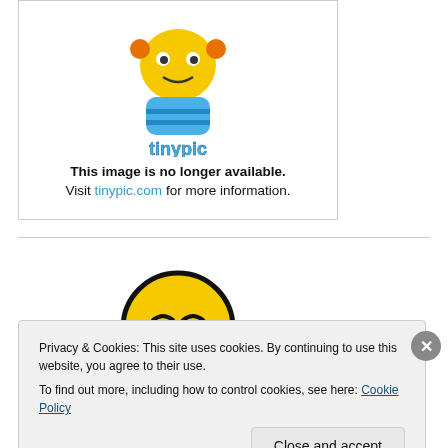[Figure (illustration): Tinypic placeholder image showing cartoon mascot robot and 'This image is no longer available. Visit tinypic.com for more information.' text]
[Figure (illustration): Partial yellow smiley face emoji with closed eyes, partially obscured by cookie consent banner]
Privacy & Cookies: This site uses cookies. By continuing to use this website, you agree to their use.
To find out more, including how to control cookies, see here: Cookie Policy